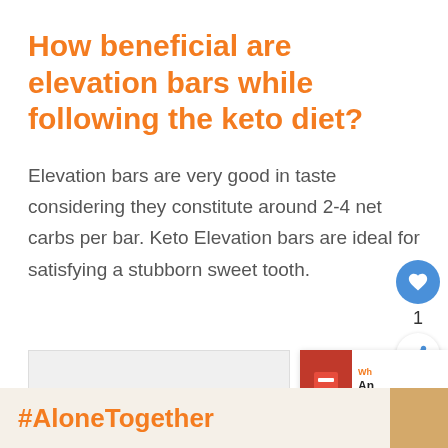How beneficial are elevation bars while following the keto diet?
Elevation bars are very good in taste considering they constitute around 2-4 net carbs per bar. Keto Elevation bars are ideal for satisfying a stubborn sweet tooth.
[Figure (screenshot): A like/heart button (blue circle), count '1', and a share button below, floating on the right side of the page]
[Figure (screenshot): A small ad panel at the bottom right showing a product image and truncated text 'Wh... An... Pe...']
[Figure (screenshot): Bottom bar with light beige background showing '#AloneTogether' in orange text on left, a photo of a woman on right, an X close button, and a dark section with a logo on far right]